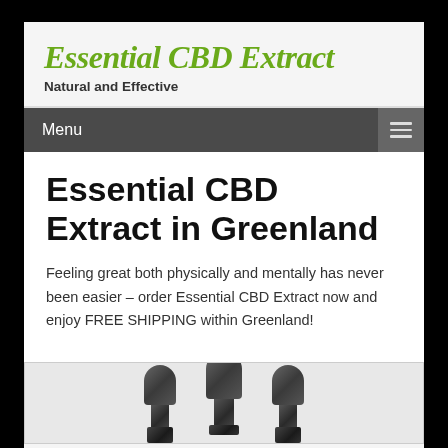Essential CBD Extract
Natural and Effective
Menu
Essential CBD Extract in Greenland
Feeling great both physically and mentally has never been easier – order Essential CBD Extract now and enjoy FREE SHIPPING within Greenland!
[Figure (photo): Product photo showing three CBD oil dropper bottles]